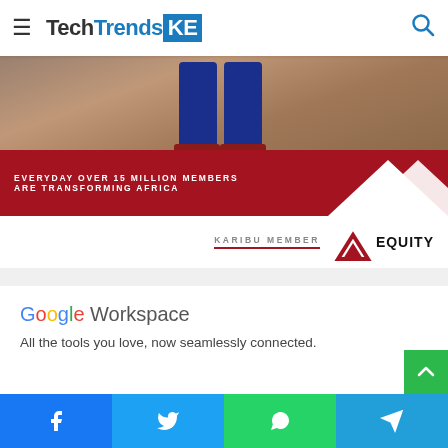TechTrendsKE
[Figure (photo): Equity Bank advertisement banner: photo of person's legs in blue jeans on dirt ground, red band with text 'EVERYDAY OVER 15 MILLION MEMBERS ARE TRANSFORMING AFRICA', 'KARIBU MEMBER' text and Equity logo with roof-shaped icon]
[Figure (screenshot): Google Workspace advertisement: Google Workspace logo and tagline 'All the tools you love, now seamlessly connected.']
Facebook | Twitter | WhatsApp | Telegram social share buttons